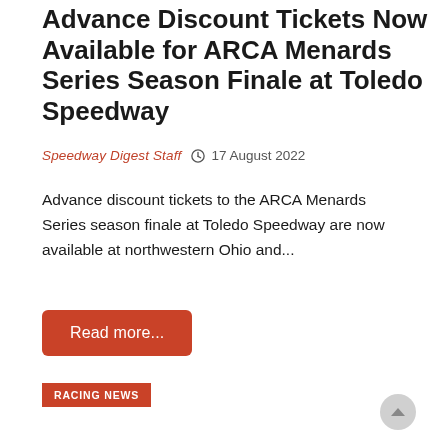Advance Discount Tickets Now Available for ARCA Menards Series Season Finale at Toledo Speedway
Speedway Digest Staff  17 August 2022
Advance discount tickets to the ARCA Menards Series season finale at Toledo Speedway are now available at northwestern Ohio and...
Read more...
RACING NEWS